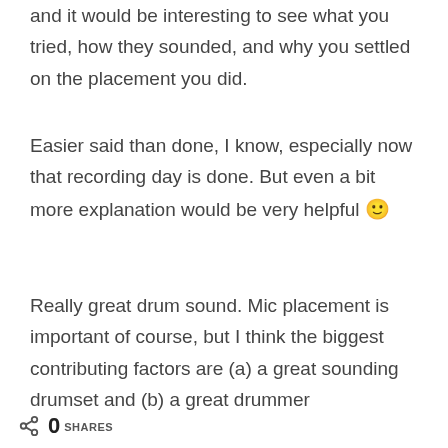and it would be interesting to see what you tried, how they sounded, and why you settled on the placement you did.
Easier said than done, I know, especially now that recording day is done. But even a bit more explanation would be very helpful 🙂
Really great drum sound. Mic placement is important of course, but I think the biggest contributing factors are (a) a great sounding drumset and (b) a great drummer
0 SHARES